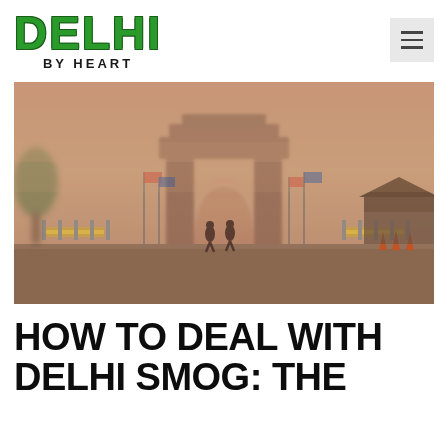DELHI BY HEART
[Figure (photo): India Gate monument in Delhi barely visible through thick orange-brown smog. Security guards walk in front with barriers and flags visible on either side, the arch almost obscured by heavy pollution haze.]
HOW TO DEAL WITH DELHI SMOG: THE